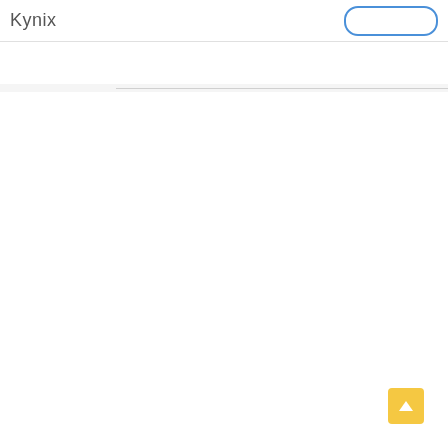Kynix
[Figure (screenshot): Navigation tab bar with a chevron/collapse tab button on the left and a horizontal rule extending to the right]
[Figure (other): Yellow scroll-to-top button with upward arrow in the bottom-right corner]